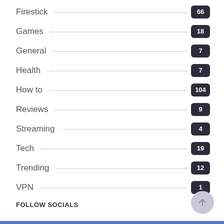Firestick 66
Games 18
General 7
Health 7
How to 104
Reviews 9
Streaming 4
Tech 19
Trending 12
VPN 1
FOLLOW SOCIALS